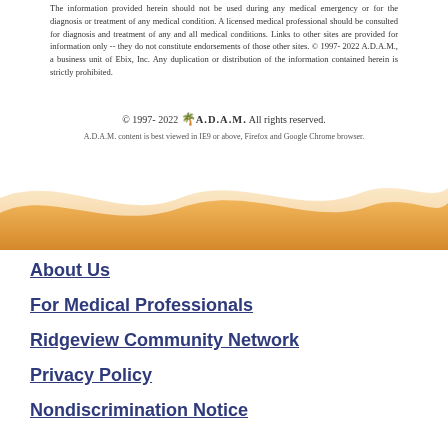The information provided herein should not be used during any medical emergency or for the diagnosis or treatment of any medical condition. A licensed medical professional should be consulted for diagnosis and treatment of any and all medical conditions. Links to other sites are provided for information only -- they do not constitute endorsements of those other sites. © 1997- 2022 A.D.A.M., a business unit of Ebix, Inc. Any duplication or distribution of the information contained herein is strictly prohibited.
© 1997- 2022 A.D.A.M. All rights reserved.
A.D.A.M. content is best viewed in IE9 or above, Firefox and Google Chrome browser.
[Figure (illustration): Decorative wave banner in orange/sandy gradient color]
About Us
For Medical Professionals
Ridgeview Community Network
Privacy Policy
Nondiscrimination Notice